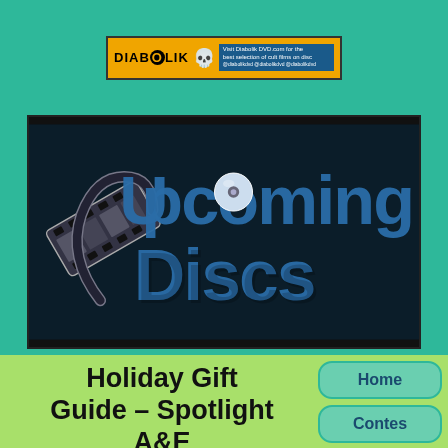[Figure (logo): Diabolik DVD advertisement banner with orange/yellow logo, skull graphic and blue text block]
[Figure (logo): Upcoming Discs website logo — dark background with film reel and large 3D text reading 'Upcoming Discs' in blue metallic style]
Holiday Gift Guide – Spotlight A&E
Posted in: News and Opinions by Gino
[Figure (screenshot): Navigation sidebar with rounded rectangle buttons: Home, Contes[ts], Review In[dex]]